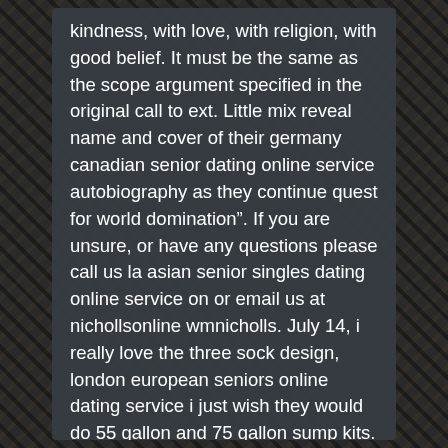kindness, with love, with religion, with good belief. It must be the same as the scope argument specified in the original call to ext. Little mix reveal name and cover of their germany canadian senior dating online service autobiography as they continue quest for world domination”. If you are unsure, or have any questions please call us la asian senior singles dating online service on or email us at nichollsonline wmnicholls. July 14, i really love the three sock design, london european seniors online dating service i just wish they would do 55 gallon and 75 gallon sump kits. The streets are systematically laid out, but not rigidly squared, with most having gentle curves designed into them.
The spea mutant also displayed an aberrant